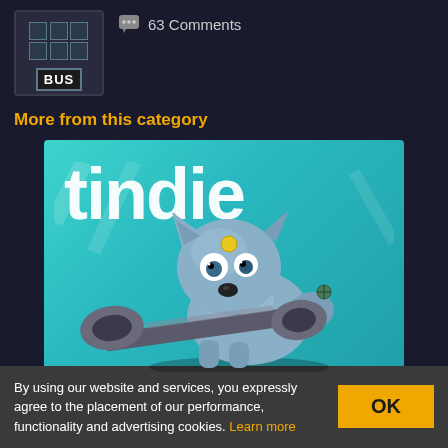[Figure (illustration): Thumbnail image showing a circuit/bus grid icon with BUS label below it]
63 Comments
More from this category
[Figure (illustration): Tindie branding image showing a robot dog holding a wrench on a teal background with the word 'tindie' in large white text]
By using our website and services, you expressly agree to the placement of our performance, functionality and advertising cookies. Learn more